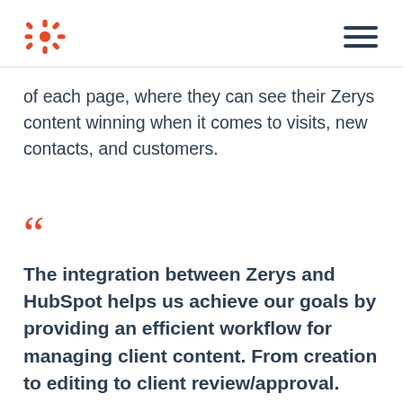HubSpot logo and navigation menu
of each page, where they can see their Zerys content winning when it comes to visits, new contacts, and customers.
““ The integration between Zerys and HubSpot helps us achieve our goals by providing an efficient workflow for managing client content. From creation to editing to client review/approval. Once